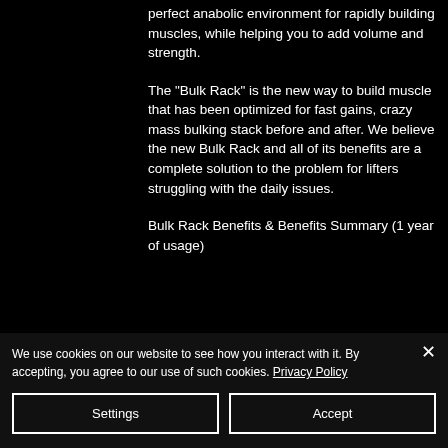perfect anabolic environment for rapidly building muscles, while helping you to add volume and strength.
The "Bulk Rack" is the new way to build muscle that has been optimized for fast gains, crazy mass bulking stack before and after. We believe the new Bulk Rack and all of its benefits are a complete solution to the problem for lifters struggling with the daily issues.
Bulk Rack Benefits & Benefits Summary (1 year of usage)
We use cookies on our website to see how you interact with it. By accepting, you agree to our use of such cookies. Privacy Policy